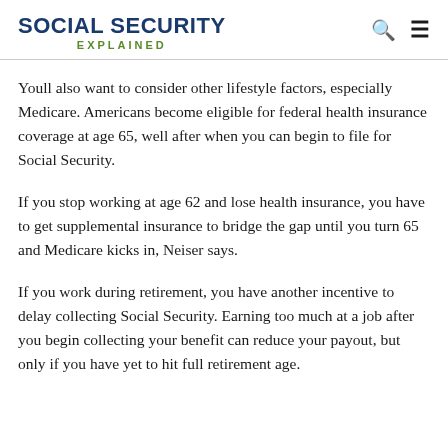SOCIAL SECURITY EXPLAINED
Youll also want to consider other lifestyle factors, especially Medicare. Americans become eligible for federal health insurance coverage at age 65, well after when you can begin to file for Social Security.
If you stop working at age 62 and lose health insurance, you have to get supplemental insurance to bridge the gap until you turn 65 and Medicare kicks in, Neiser says.
If you work during retirement, you have another incentive to delay collecting Social Security. Earning too much at a job after you begin collecting your benefit can reduce your payout, but only if you have yet to hit full retirement age.